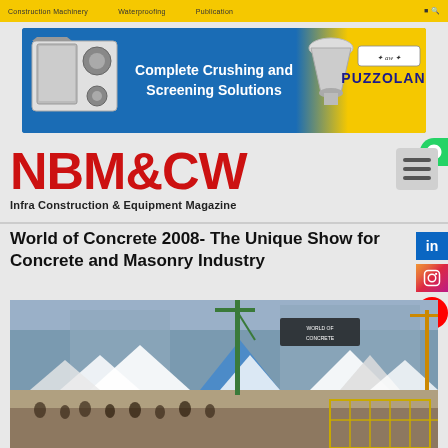Construction Machinery | Waterproofing | Publication
[Figure (illustration): Puzzolana advertisement banner: blue background with crushing and screening machinery images on left and right, text 'Complete Crushing and Screening Solutions' in center, Puzzolana logo on right side]
NBM&CW Infra Construction & Equipment Magazine
World of Concrete 2008- The Unique Show for Concrete and Masonry Industry
[Figure (photo): Aerial/ground view of World of Concrete 2008 trade show outdoor exhibits with tents, cranes, crowds, and construction equipment on display]